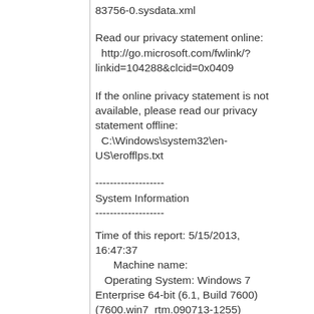83756-0.sysdata.xml
Read our privacy statement online:
  http://go.microsoft.com/fwlink/?linkid=104288&clcid=0x0409
If the online privacy statement is not available, please read our privacy statement offline:
  C:\Windows\system32\en-US\erofflps.txt
-------------------
System Information
-------------------
Time of this report: 5/15/2013, 16:47:37
      Machine name:
   Operating System: Windows 7 Enterprise 64-bit (6.1, Build 7600) (7600.win7_rtm.090713-1255)
         Language: English (Regional Setting: English)